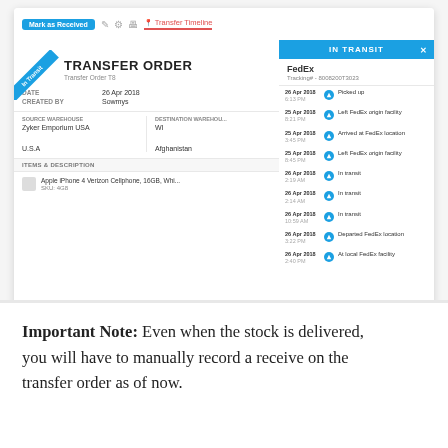[Figure (screenshot): Screenshot of a Transfer Order document with an 'In Transit' panel on the right showing FedEx tracking timeline. The left panel shows transfer order details (date 26 Apr 2018, created by Sowmys, source warehouse Zyker Emporium USA, destination WI/Afghanistan), and the right panel shows IN TRANSIT header with FedEx tracking events.]
Important Note: Even when the stock is delivered, you will have to manually record a receive on the transfer order as of now.